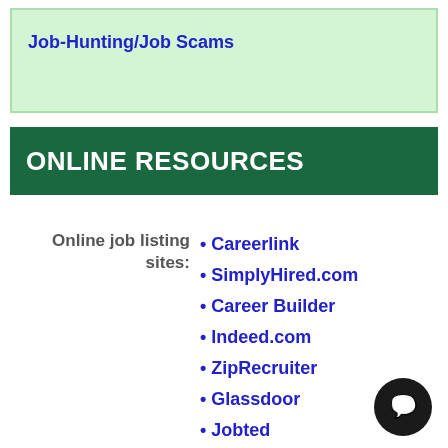Job-Hunting/Job Scams
ONLINE RESOURCES
Online job listing sites:
Careerlink
SimplyHired.com
Career Builder
Indeed.com
ZipRecruiter
Glassdoor
Jobted
[Figure (illustration): Dark circular chat/support button icon in the bottom right corner]